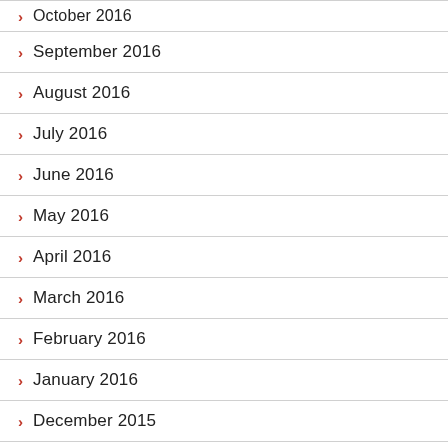October 2016
September 2016
August 2016
July 2016
June 2016
May 2016
April 2016
March 2016
February 2016
January 2016
December 2015
November 2015